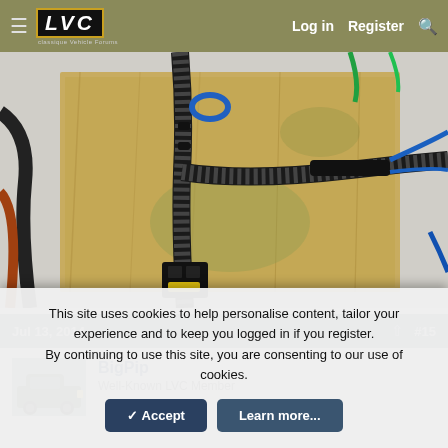LVC - Log in  Register  Search
[Figure (photo): Photo of automotive wiring harness with black braided cables, heat shrink tubing, a yellow/black connector, laid on a wooden board surface. Blue and other colored wires visible.]
Jul 13, 2014  #15
BigPip
Well-Known LVC Member
This site uses cookies to help personalise content, tailor your experience and to keep you logged in if you register.
By continuing to use this site, you are consenting to our use of cookies.
✓ Accept    Learn more...